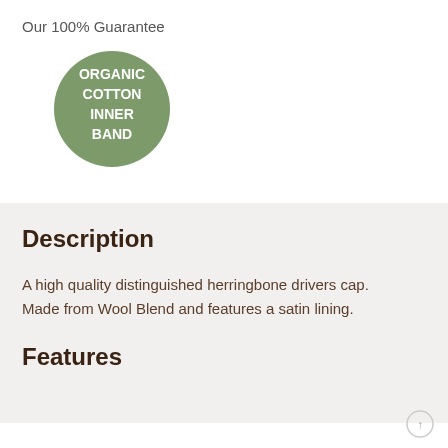Our 100% Guarantee
[Figure (logo): Green circular badge with white bold text reading 'ORGANIC COTTON INNER BAND']
Description
A high quality distinguished herringbone drivers cap. Made from Wool Blend and features a satin lining.
Features